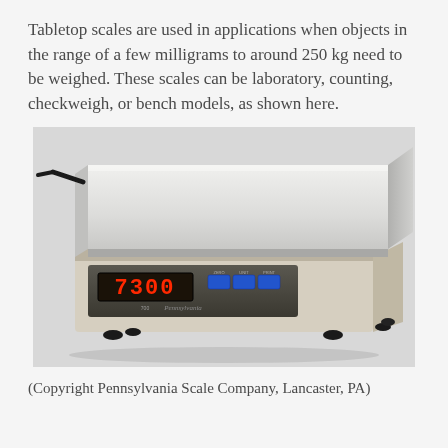Tabletop scales are used in applications when objects in the range of a few milligrams to around 250 kg need to be weighed. These scales can be laboratory, counting, checkweigh, or bench models, as shown here.
[Figure (photo): A tabletop bench scale (Pennsylvania Scale Company) with a large flat stainless steel weighing platform on top, a digital LED display showing '7300', and blue control buttons on the front panel. The scale has rubber feet and a power cord visible at the back left.]
(Copyright Pennsylvania Scale Company, Lancaster, PA)